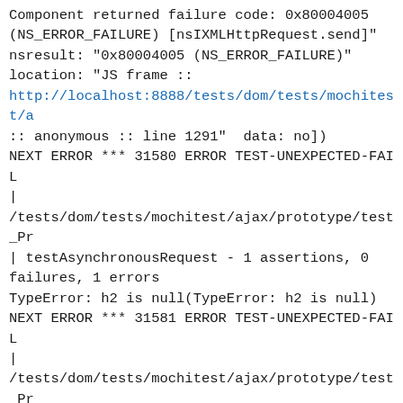Component returned failure code: 0x80004005 (NS_ERROR_FAILURE) [nsIXMLHttpRequest.send]" nsresult: "0x80004005 (NS_ERROR_FAILURE)" location: "JS frame :: http://localhost:8888/tests/dom/tests/mochitest/a :: anonymous :: line 1291"  data: no]) NEXT ERROR *** 31580 ERROR TEST-UNEXPECTED-FAIL | /tests/dom/tests/mochitest/ajax/prototype/test_Pr | testAsynchronousRequest - 1 assertions, 0 failures, 1 errors TypeError: h2 is null(TypeError: h2 is null) NEXT ERROR *** 31581 ERROR TEST-UNEXPECTED-FAIL | /tests/dom/tests/mochitest/ajax/prototype/test_Pr | testUpdater - 3 assertions, 1 failures, 0 errors Failure: assertEqual expected <'pack my box with <em>five dozen</em> liquor jugs! oh, how <strong>quickly</strong> dft...